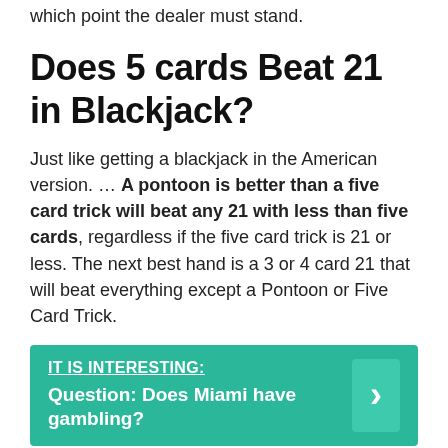which point the dealer must stand.
Does 5 cards Beat 21 in Blackjack?
Just like getting a blackjack in the American version. … A pontoon is better than a five card trick will beat any 21 with less than five cards, regardless if the five card trick is 21 or less. The next best hand is a 3 or 4 card 21 that will beat everything except a Pontoon or Five Card Trick.
IT IS INTERESTING: Question: Does Miami have gambling?
Do dealers count Ace 1 or